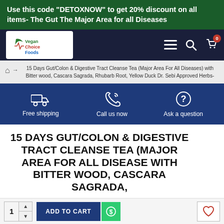Use this code "DETOXNOW" to get 20% discount on all items- The Gut The Major Area for all Diseases
[Figure (logo): Vegan Choice Foods logo - green leaf with heartbeat line, text in green, red and blue]
≡  🔍  🛒 0
🏠 → 15 Days Gut/Colon & Digestive Tract Cleanse Tea (Major Area For All Diseases) with Bitter wood, Cascara Sagrada, Rhubarb Root, Yellow Duck Dr. Sebi Approved Herbs-
[Figure (infographic): Service bar with three icons: Free shipping (delivery truck), Call us now (phone), Ask a question (question mark circle)]
15 DAYS GUT/COLON & DIGESTIVE TRACT CLEANSE TEA (MAJOR AREA FOR ALL DISEASE WITH BITTER WOOD, CASCARA SAGRADA,
[Figure (infographic): Social media sidebar buttons: YouTube (red), Facebook (blue), Twitter (light blue), Instagram (purple)]
1  ADD TO CART  $  ♡